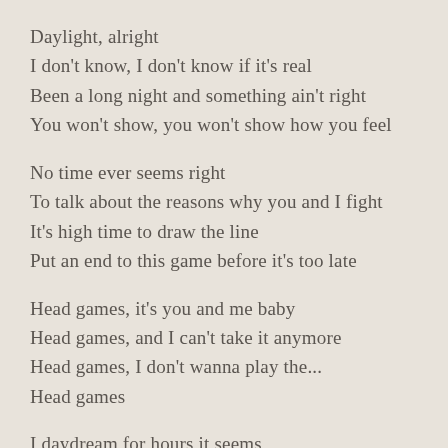Daylight, alright
I don't know, I don't know if it's real
Been a long night and something ain't right
You won't show, you won't show how you feel
No time ever seems right
To talk about the reasons why you and I fight
It's high time to draw the line
Put an end to this game before it's too late
Head games, it's you and me baby
Head games, and I can't take it anymore
Head games, I don't wanna play the...
Head games
I daydream for hours it seems
I keep thinkin' of you, yeah, thinkin' of you